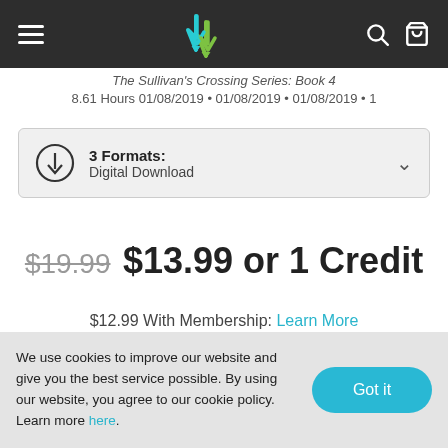Navigation bar with hamburger menu, logo, search and cart icons
The Sullivan's Crossing Series: Book 4
8.61 Hours 01/08/2019 • 01/08/2019 • 01/08/2019 • 1
3 Formats: Digital Download
$19.99  $13.99 or 1 Credit
$12.99 With Membership: Learn More
We use cookies to improve our website and give you the best service possible. By using our website, you agree to our cookie policy. Learn more here.